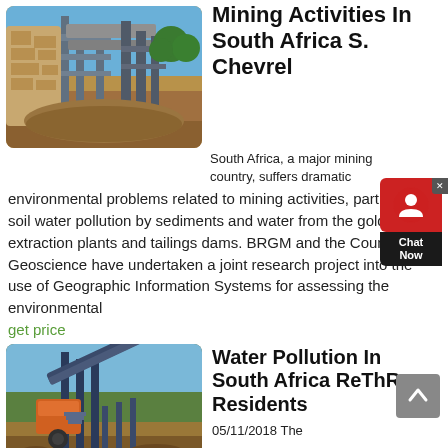[Figure (photo): Industrial mining facility with stone structures and metal equipment under blue sky]
Mining Activities In South Africa S. Chevrel
South Africa, a major mining country, suffers dramatic environmental problems related to mining activities, particularly soil water pollution by sediments and water from the gold extraction plants and tailings dams. BRGM and the Council for Geoscience have undertaken a joint research project into the use of Geographic Information Systems for assessing the environmental
get price
[Figure (photo): Mining conveyor belt and machinery at an open-air mining site]
Water Pollution In South Africa ReThRo Residents
05/11/2018 The